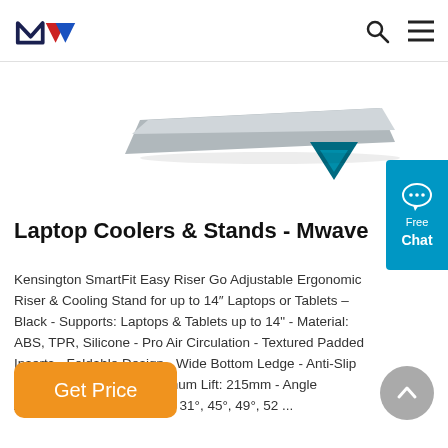Mwave logo, search icon, menu icon
[Figure (photo): Product hero image area showing a laptop stand/riser in silver/grey with a teal/dark blue triangular accent, partially visible at top of page]
Laptop Coolers & Stands - Mwave
Kensington SmartFit Easy Riser Go Adjustable Ergonomic Riser & Cooling Stand for up to 14″ Laptops or Tablets – Black - Supports: Laptops & Tablets up to 14" - Material: ABS, TPR, Silicone - Pro Air Circulation - Textured Padded Inserts - Foldable Design - Wide Bottom Ledge - Anti-Slip Silicone Foot Pads - Maximum Lift: 215mm - Angle Adjustments: 24°, 27°, 29°, 31°, 45°, 49°, 52 ...
Get Price